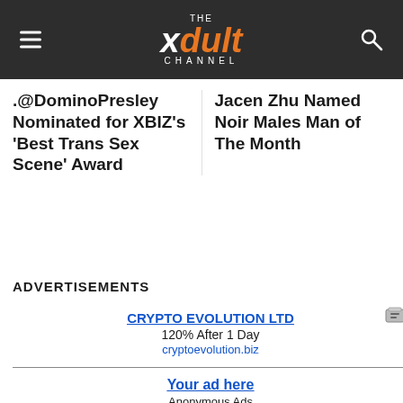THE xdult CHANNEL
.@DominoPresley Nominated for XBIZ's 'Best Trans Sex Scene' Award
Jacen Zhu Named Noir Males Man of The Month
ADVERTISEMENTS
CRYPTO EVOLUTION LTD
120% After 1 Day
cryptoevolution.biz
Your ad here
Anonymous Ads